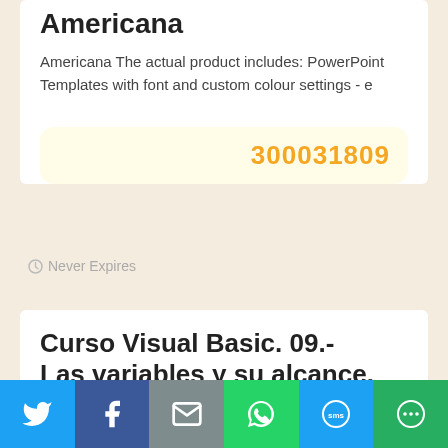Americana
Americana The actual product includes: PowerPoint Templates with font and custom colour settings - e
300031809
Never Expires
Curso Visual Basic. 09.- Las variables y su alcance.
If you want to learn how to create programmns with the visual basic IDE, you can try it with this